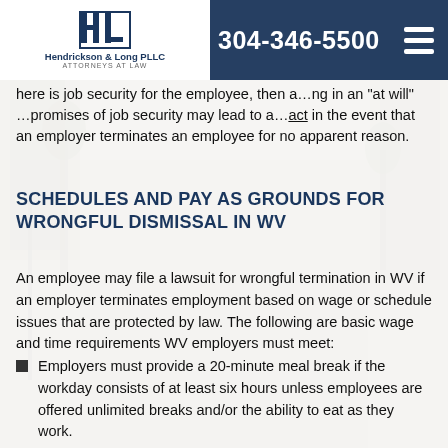304-346-5500 | Hendrickson & Long PLLC Attorneys at Law
here is job security for the employee, then a...ng in an "at will" ...promises of job security may lead to a...act in the event that an employer terminates an employee for no apparent reason.
SCHEDULES AND PAY AS GROUNDS FOR WRONGFUL DISMISSAL IN WV
An employee may file a lawsuit for wrongful termination in WV if an employer terminates employment based on wage or schedule issues that are protected by law. The following are basic wage and time requirements WV employers must meet:
Employers must provide a 20-minute meal break if the workday consists of at least six hours unless employees are offered unlimited breaks and/or the ability to eat as they work.
For covered employees, employers must pay for breaks that last 20 minutes or less.